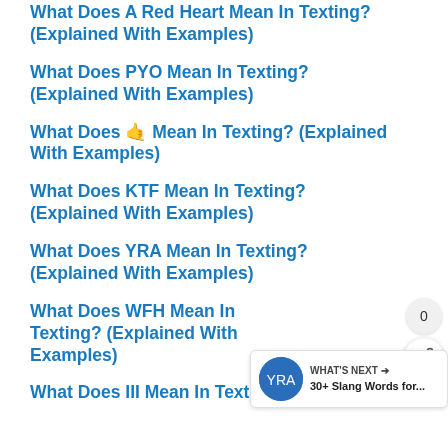What Does A Red Heart Mean In Texting? (Explained With Examples)
What Does PYO Mean In Texting? (Explained With Examples)
What Does 🤙 Mean In Texting? (Explained With Examples)
What Does KTF Mean In Texting? (Explained With Examples)
What Does YRA Mean In Texting? (Explained With Examples)
What Does WFH Mean In Texting? (Explained With Examples)
What Does III Mean In Texting?